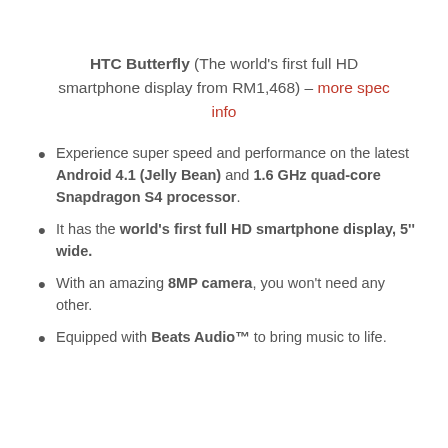HTC Butterfly (The world's first full HD smartphone display from RM1,468) – more spec info
Experience super speed and performance on the latest Android 4.1 (Jelly Bean) and 1.6 GHz quad-core Snapdragon S4 processor.
It has the world's first full HD smartphone display, 5" wide.
With an amazing 8MP camera, you won't need any other.
Equipped with Beats Audio™ to bring music to life.